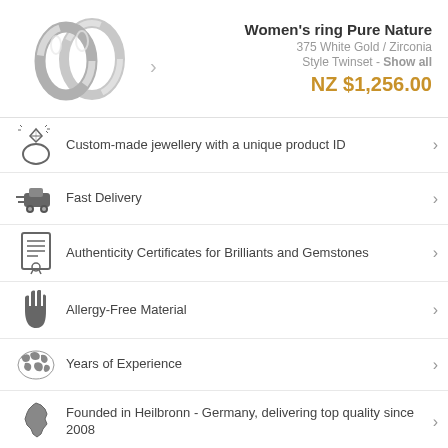[Figure (photo): Two silver/white gold rings overlapping each other - Women's ring Pure Nature product image]
Women's ring Pure Nature
375 White Gold / Zirconia
Style Twinset - Show all
NZ $1,256.00
Custom-made jewellery with a unique product ID
Fast Delivery
Authenticity Certificates for Brilliants and Gemstones
Allergy-Free Material
Years of Experience
Founded in Heilbronn - Germany, delivering top quality since 2008
Direct from the source
Conflict free diamonds, gemstones and metals